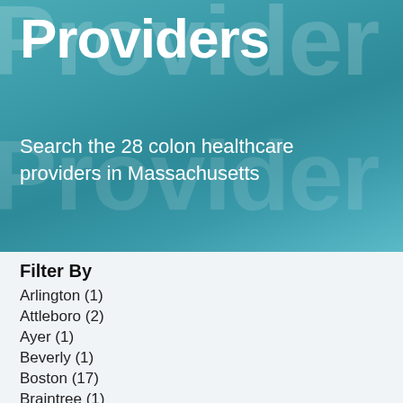Providers
Search the 28 colon healthcare providers in Massachusetts
Filter By
Arlington (1)
Attleboro (2)
Ayer (1)
Beverly (1)
Boston (17)
Braintree (1)
Brighton (2)
Brockton (2)
Salem (1)